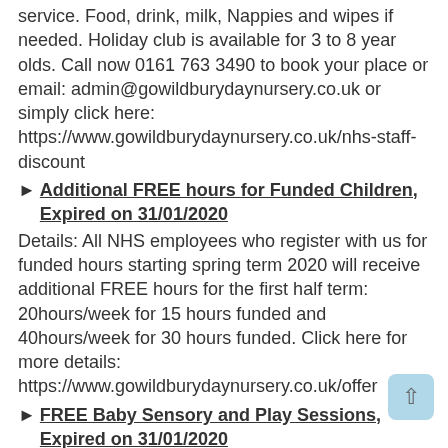service. Food, drink, milk, Nappies and wipes if needed. Holiday club is available for 3 to 8 year olds. Call now 0161 763 3490 to book your place or email: admin@gowildburydaynursery.co.uk or simply click here: https://www.gowildburydaynursery.co.uk/nhs-staff-discount
Additional FREE hours for Funded Children, Expired on 31/01/2020
Details: All NHS employees who register with us for funded hours starting spring term 2020 will receive additional FREE hours for the first half term: 20hours/week for 15 hours funded and 40hours/week for 30 hours funded. Click here for more details: https://www.gowildburydaynursery.co.uk/offer
FREE Baby Sensory and Play Sessions, Expired on 31/01/2020
Details: We offer FREE baby sensory and play